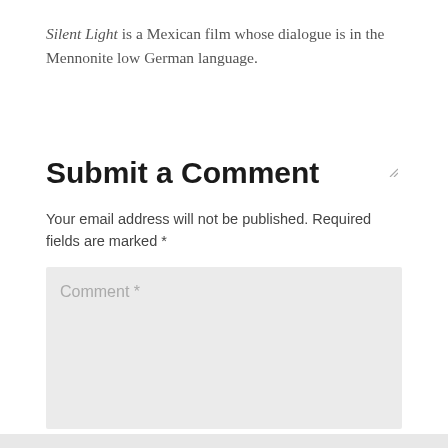Silent Light is a Mexican film whose dialogue is in the Mennonite low German language.
Submit a Comment
Your email address will not be published. Required fields are marked *
Comment *